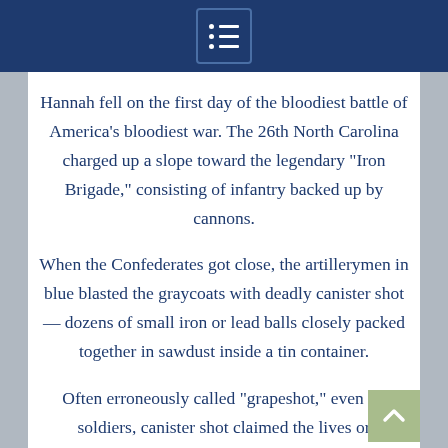Hannah fell on the first day of the bloodiest battle of America’s bloodiest war. The 26th North Carolina charged up a slope toward the legendary “Iron Brigade,” consisting of infantry backed up by cannons.
When the Confederates got close, the artillerymen in blue blasted the graycoats with deadly canister shot — dozens of small iron or lead balls closely packed together in sawdust inside a tin container.
Often erroneously called “grapeshot,” even by soldiers, canister shot claimed the lives or